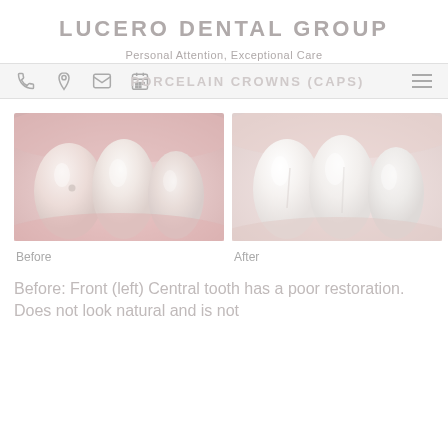LUCERO DENTAL GROUP
Personal Attention, Exceptional Care
PORCELAIN CROWNS (CAPS)
[Figure (photo): Before photo: front teeth showing a tooth with poor restoration, does not look natural]
Before
[Figure (photo): After photo: front teeth after crown restoration, looking natural and improved]
After
Before: Front (left) Central tooth has a poor restoration. Does not look natural and is not